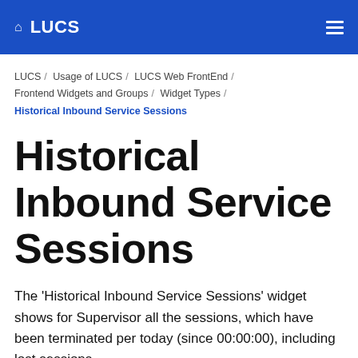LUCS
LUCS / Usage of LUCS / LUCS Web FrontEnd / Frontend Widgets and Groups / Widget Types / Historical Inbound Service Sessions
Historical Inbound Service Sessions
The 'Historical Inbound Service Sessions' widget shows for Supervisor all the sessions, which have been terminated per today (since 00:00:00), including lost sessions.